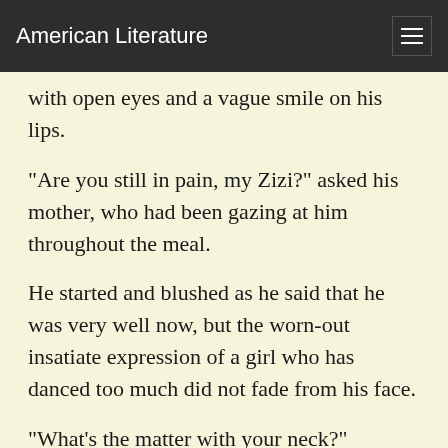American Literature
with open eyes and a vague smile on his lips.
"Are you still in pain, my Zizi?" asked his mother, who had been gazing at him throughout the meal.
He started and blushed as he said that he was very well now, but the worn-out insatiate expression of a girl who has danced too much did not fade from his face.
"What's the matter with your neck?" resumed Mme Hugon in an alarmed tone. "It's all red."
He was embarrassed and stammered. He did not know--he had nothing the matter with his neck. Then